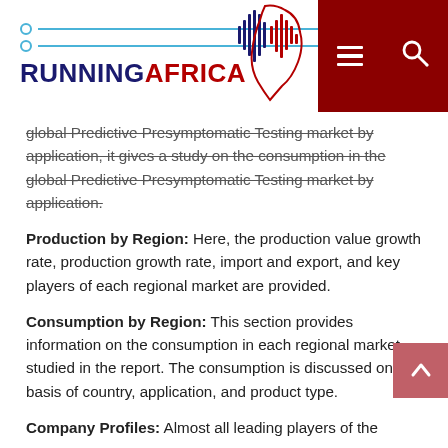RUNNINGAFRICA
global Predictive Presymptomatic Testing market by application, it gives a study on the consumption in the global Predictive Presymptomatic Testing market by application.
Production by Region: Here, the production value growth rate, production growth rate, import and export, and key players of each regional market are provided.
Consumption by Region: This section provides information on the consumption in each regional market studied in the report. The consumption is discussed on the basis of country, application, and product type.
Company Profiles: Almost all leading players of the